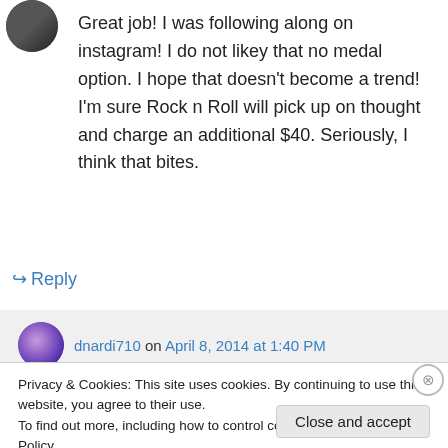[Figure (photo): User avatar photo, circular, dark tones]
Great job! I was following along on instagram! I do not likey that no medal option. I hope that doesn't become a trend! I'm sure Rock n Roll will pick up on thought and charge an additional $40. Seriously, I think that bites.
↪ Reply
dnardi710 on April 8, 2014 at 1:40 PM
Privacy & Cookies: This site uses cookies. By continuing to use this website, you agree to their use.
To find out more, including how to control cookies, see here: Cookie Policy
Close and accept